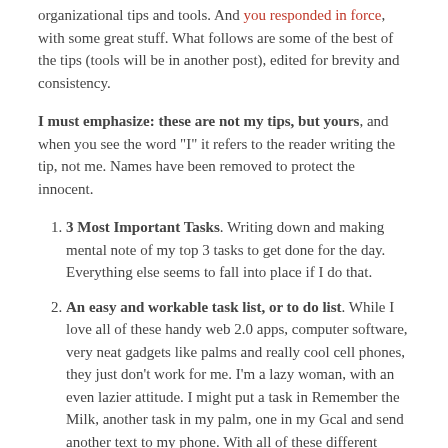organizational tips and tools. And you responded in force, with some great stuff. What follows are some of the best of the tips (tools will be in another post), edited for brevity and consistency.
I must emphasize: these are not my tips, but yours, and when you see the word "I" it refers to the reader writing the tip, not me. Names have been removed to protect the innocent.
3 Most Important Tasks. Writing down and making mental note of my top 3 tasks to get done for the day. Everything else seems to fall into place if I do that.
An easy and workable task list, or to do list. While I love all of these handy web 2.0 apps, computer software, very neat gadgets like palms and really cool cell phones, they just don't work for me. I'm a lazy woman, with an even lazier attitude. I might put a task in Remember the Milk, another task in my palm, one in my Gcal and send another text to my phone. With all of these different ways of doing things, I end up spending much more time trying to organize my to do list, or consolidate it, that I don't get much actually done.